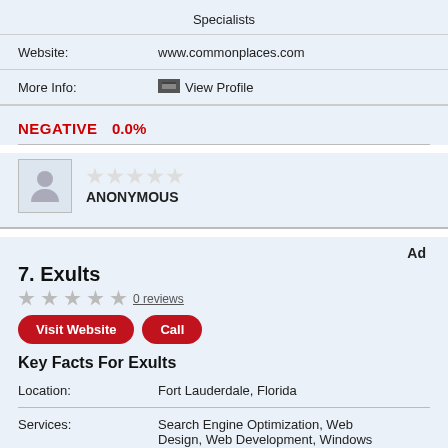Specialists
Website: www.commonplaces.com
More Info: View Profile
NEGATIVE  0.0%
ANONYMOUS
Ad
7. Exults
0 reviews
Visit Website  Call
Key Facts For Exults
Location: Fort Lauderdale, Florida
Services: Search Engine Optimization, Web Design, Web Development, Windows